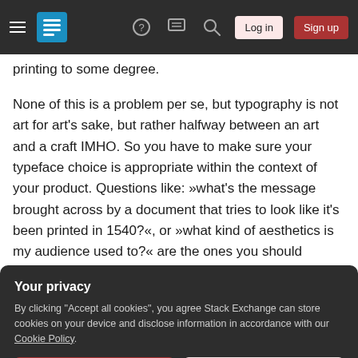Stack Exchange navigation bar with hamburger menu, logo, help, chat, search icons, Log in and Sign up buttons
printing to some degree.
None of this is a problem per se, but typography is not art for art's sake, but rather halfway between an art and a craft IMHO. So you have to make sure your typeface choice is appropriate within the context of your product. Questions like: »what's the message brought across by a document that tries to look like it's been printed in 1540?«, or »what kind of aesthetics is my audience used to?« are the ones you should consider here.
Your privacy
By clicking "Accept all cookies", you agree Stack Exchange can store cookies on your device and disclose information in accordance with our Cookie Policy.
Accept all cookies
Customize settings
shunned by most decent typographers, which I